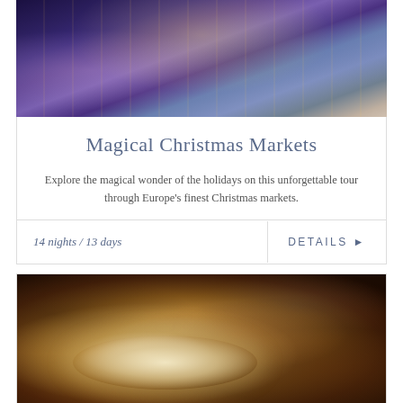[Figure (photo): Aerial night view of a Christmas market in Europe with crowds of people, glowing lights, and market stalls arranged in geometric patterns]
Magical Christmas Markets
Explore the magical wonder of the holidays on this unforgettable tour through Europe's finest Christmas markets.
14 nights / 13 days
DETAILS ▶
[Figure (photo): Close-up food photography of a gourmet dish featuring grilled octopus with sauce on a white plate, with a small bowl of sauce visible in the background]